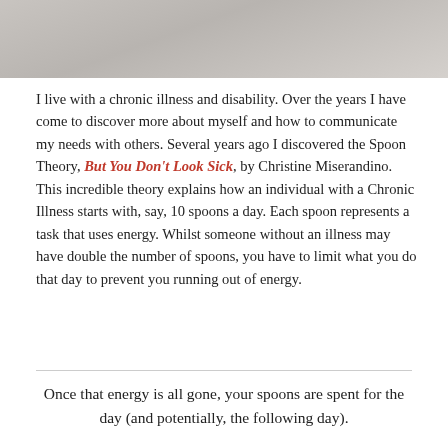[Figure (photo): Partial photo at top of page, grey/beige tones, appears to show papers or fabric]
I live with a chronic illness and disability. Over the years I have come to discover more about myself and how to communicate my needs with others. Several years ago I discovered the Spoon Theory, But You Don't Look Sick, by Christine Miserandino. This incredible theory explains how an individual with a Chronic Illness starts with, say, 10 spoons a day. Each spoon represents a task that uses energy. Whilst someone without an illness may have double the number of spoons, you have to limit what you do that day to prevent you running out of energy.
Once that energy is all gone, your spoons are spent for the day (and potentially, the following day).